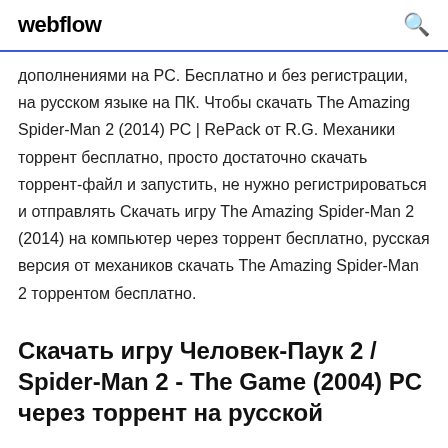webflow
дополнениями на PC. Бесплатно и без регистрации, на русском языке на ПК. Чтобы скачать The Amazing Spider-Man 2 (2014) PC | RePack от R.G. Механики торрент бесплатно, просто достаточно скачать торрент-файл и запустить, не нужно регистрироваться и отправлять Скачать игру The Amazing Spider-Man 2 (2014) на компьютер через торрент бесплатно, русская версия от механиков скачать The Amazing Spider-Man 2 торрентом бесплатно.
Скачать игру Человек-Паук 2 / Spider-Man 2 - The Game (2004) PC через торрент на русской